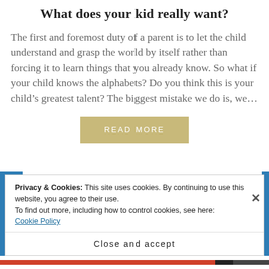What does your kid really want?
The first and foremost duty of a parent is to let the child understand and grasp the world by itself rather than forcing it to learn things that you already know. So what if your child knows the alphabets? Do you think this is your child’s greatest talent? The biggest mistake we do is, we…
READ MORE
Privacy & Cookies: This site uses cookies. By continuing to use this website, you agree to their use.
To find out more, including how to control cookies, see here:
Cookie Policy
Close and accept